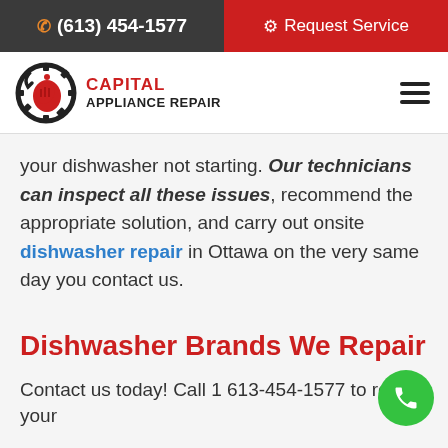(613) 454-1577 | Request Service
[Figure (logo): Capital Appliance Repair logo with wrench and fist gear icon]
your dishwasher not starting. Our technicians can inspect all these issues, recommend the appropriate solution, and carry out onsite dishwasher repair in Ottawa on the very same day you contact us.
Dishwasher Brands We Repair
Contact us today! Call 1 613-454-1577 to repair your